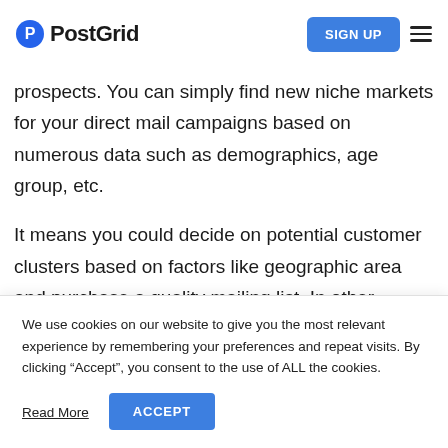PostGrid — SIGN UP
prospects. You can simply find new niche markets for your direct mail campaigns based on numerous data such as demographics, age group, etc.
It means you could decide on potential customer clusters based on factors like geographic area and purchase a quality mailing list. In other words, you
We use cookies on our website to give you the most relevant experience by remembering your preferences and repeat visits. By clicking “Accept”, you consent to the use of ALL the cookies.
Read More   ACCEPT